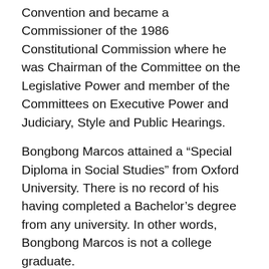Convention and became a Commissioner of the 1986 Constitutional Commission where he was Chairman of the Committee on the Legislative Power and member of the Committees on Executive Power and Judiciary, Style and Public Hearings.
Bongbong Marcos attained a “Special Diploma in Social Studies” from Oxford University. There is no record of his having completed a Bachelor’s degree from any university. In other words, Bongbong Marcos is not a college graduate.
Many Intelligent Filipinos
Intelligent Filipino – smart, thinks for himself and is not easily swayed by empty promises, unsubstantiated claims. Studies issues and investigates to arrive at the truth.